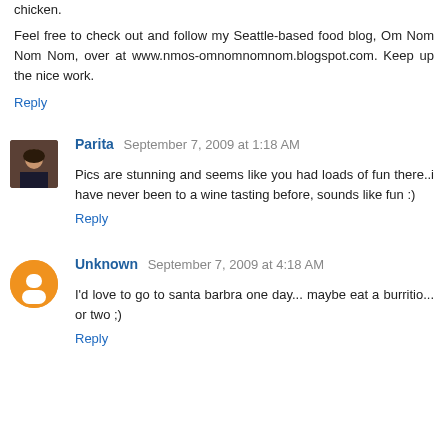chicken.
Feel free to check out and follow my Seattle-based food blog, Om Nom Nom Nom, over at www.nmos-omnomnomnom.blogspot.com. Keep up the nice work.
Reply
Parita  September 7, 2009 at 1:18 AM
Pics are stunning and seems like you had loads of fun there..i have never been to a wine tasting before, sounds like fun :)
Reply
Unknown  September 7, 2009 at 4:18 AM
I'd love to go to santa barbra one day... maybe eat a burritio... or two ;)
Reply